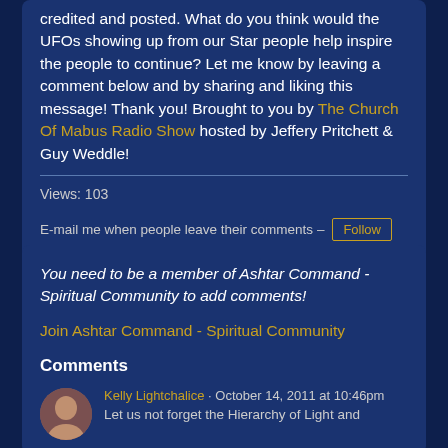credited and posted. What do you think would the UFOs showing up from our Star people help inspire the people to continue? Let me know by leaving a comment below and by sharing and liking this message! Thank you! Brought to you by The Church Of Mabus Radio Show hosted by Jeffery Pritchett & Guy Weddle!
Views: 103
E-mail me when people leave their comments – Follow
You need to be a member of Ashtar Command - Spiritual Community to add comments!
Join Ashtar Command - Spiritual Community
Comments
Kelly Lightchalice · October 14, 2011 at 10:46pm
Let us not forget the Hierarchy of Light and...